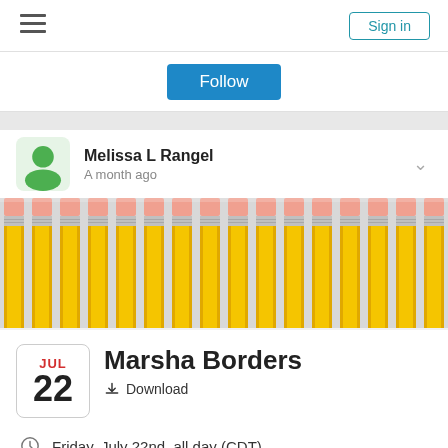Sign in
Follow
Melissa L Rangel
A month ago
[Figure (photo): Close-up photo of many yellow pencils lined up side by side, erasers facing up, on a light background.]
Marsha Borders
Download
Friday, July 22nd, all day (CDT)
Gym